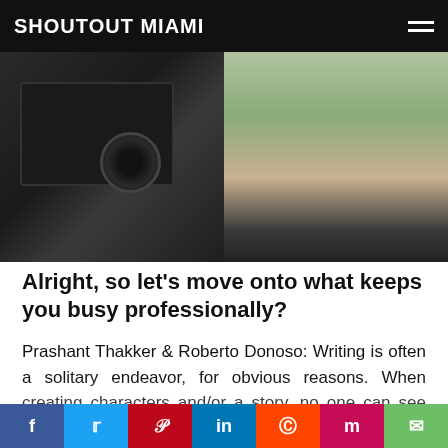SHOUTOUT MIAMI
[Figure (photo): Behind-the-scenes photo showing film camera equipment on the left and people sitting outdoors on the right]
Alright, so let's move onto what keeps you busy professionally?
Prashant Thakker & Roberto Donoso: Writing is often a solitary endeavor, for obvious reasons. When creating characters and/or a story, no one can see exactly what your mind sees. We are lucky enough to be creative partners who "get" one another. We have a common, clear vision